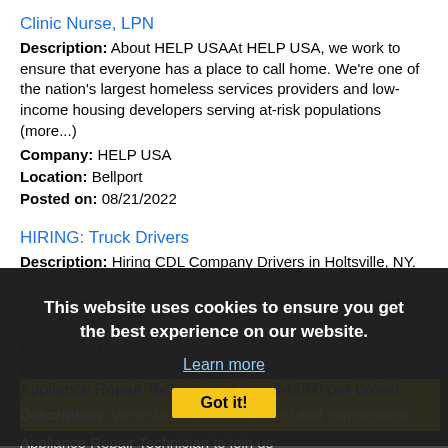Clinic Nurse, LPN
Description: About HELP USAAt HELP USA, we work to ensure that everyone has a place to call home. We're one of the nation's largest homeless services providers and low-income housing developers serving at-risk populations (more...)
Company: HELP USA
Location: Bellport
Posted on: 08/21/2022
HIRING: Truck Drivers
Description: Hiring CDL Company Drivers in Holtsville, NY. Apply once and choose a trucking job that works for you. Get home when you want to, and get paid what you deserve br Available Tru...
Company: Live Trucking
Location: Holtsville
Posted on: 08/21/20...
This website uses cookies to ensure you get the best experience on our website. Learn more Got it!
Appliance Repair Technician- Up to $4,060 per Week!
Description: We're looking for a talented and experienced Appliance Repair Technician to join us
Company: PULS
Location: Nesconset